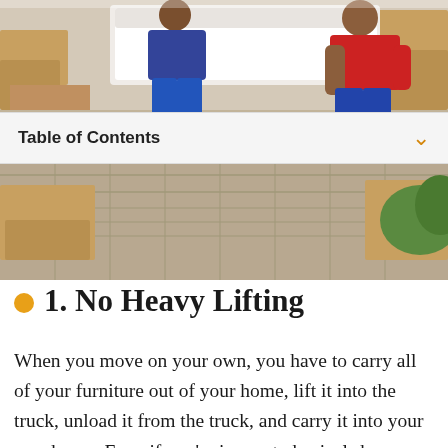[Figure (photo): Two movers carrying a white mattress or large furniture item outside a home, with cardboard boxes visible. One person wears a red shirt, the other blue pants.]
Table of Contents
1. No Heavy Lifting
When you move on your own, you have to carry all of your furniture out of your home, lift it into the truck, unload it from the truck, and carry it into your new home. Even if you're in great physical shape, this